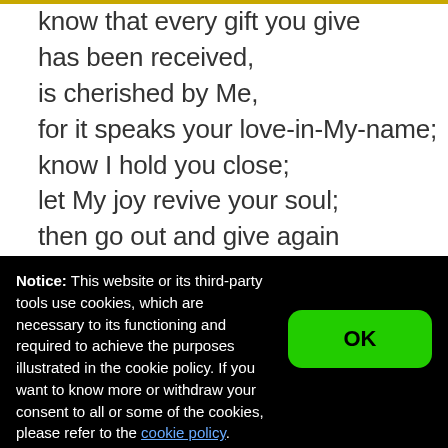know that every gift you give
has been received,
is cherished by Me,
for it speaks your love-in-My-name;
know I hold you close;
let My joy revive your soul;
then go out and give again
My love in My name.
Notice: This website or its third-party tools use cookies, which are necessary to its functioning and required to achieve the purposes illustrated in the cookie policy. If you want to know more or withdraw your consent to all or some of the cookies, please refer to the cookie policy.
By closing this banner, scrolling this page, clicking a link or continuing to browse otherwise, you agree to the use of cookies.